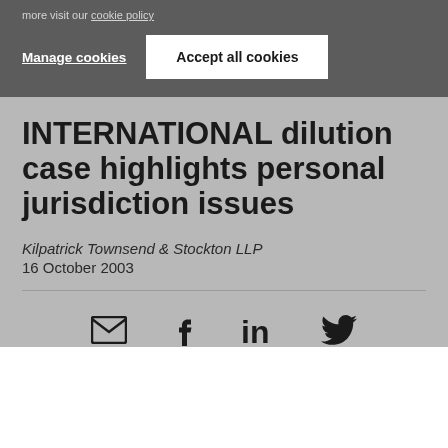more visit our cookie policy
Manage cookies
Accept all cookies
INTERNATIONAL dilution case highlights personal jurisdiction issues
Kilpatrick Townsend & Stockton LLP
16 October 2003
[Figure (illustration): Social share icons: email, Facebook, LinkedIn, Twitter]